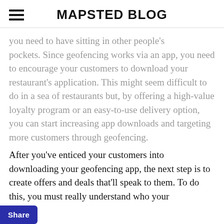MAPSTED BLOG
you need to have sitting in other people's pockets. Since geofencing works via an app, you need to encourage your customers to download your restaurant's application. This might seem difficult to do in a sea of restaurants but, by offering a high-value loyalty program or an easy-to-use delivery option, you can start increasing app downloads and targeting more customers through geofencing.
After you've enticed your customers into downloading your geofencing app, the next step is to create offers and deals that'll speak to them. To do this, you must really understand who your